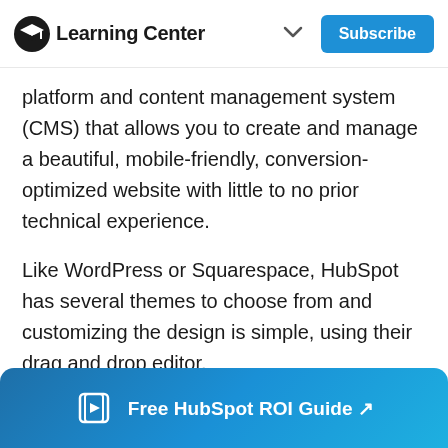Learning Center
platform and content management system (CMS) that allows you to create and manage a beautiful, mobile-friendly, conversion-optimized website with little to no prior technical experience.
Like WordPress or Squarespace, HubSpot has several themes to choose from and customizing the design is simple, using their drag and drop editor.
However, if you are an experienced designer or developer (or have one on the team), you can get as technical as if you want by editing the HTML to
Free HubSpot ROI Guide ↗